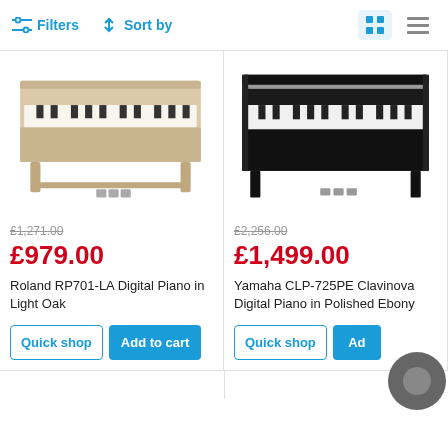Filters  Sort by
[Figure (photo): Roland RP701-LA Digital Piano in Light Oak - light wood finish upright digital piano with pedals]
£1,271.00
£979.00
Roland RP701-LA Digital Piano in Light Oak
Quick shop  Add to cart
[Figure (photo): Yamaha CLP-725PE Clavinova Digital Piano in Polished Ebony - black upright digital piano]
£2,256.00
£1,499.00
Yamaha CLP-725PE Clavinova Digital Piano in Polished Ebony
Quick shop  Add to cart